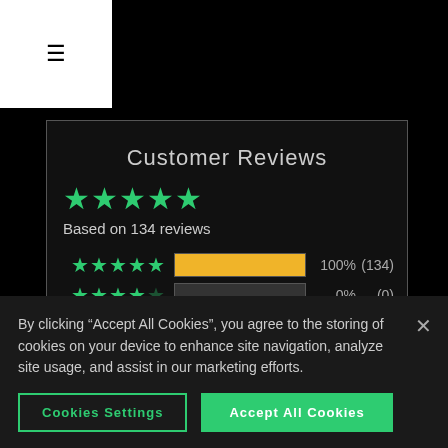[Figure (other): Hamburger menu icon (three horizontal lines) in white box on black background]
Customer Reviews
[Figure (infographic): Star rating summary: 4.5 stars out of 5, based on 134 reviews. Breakdown: 5 stars 100% (134), 4 stars 0% (0), 3 stars 0% (0), 2 stars 0% (0).]
By clicking "Accept All Cookies", you agree to the storing of cookies on your device to enhance site navigation, analyze site usage, and assist in our marketing efforts.